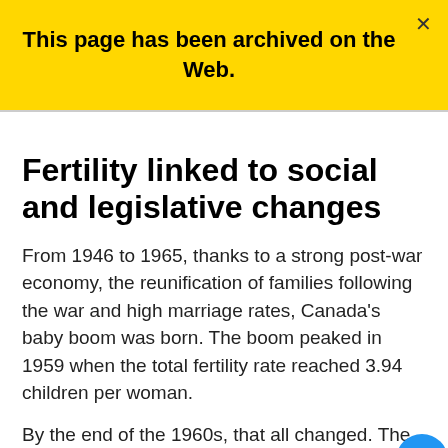This page has been archived on the Web.
Fertility linked to social and legislative changes
From 1946 to 1965, thanks to a strong post-war economy, the reunification of families following the war and high marriage rates, Canada's baby boom was born. The boom peaked in 1959 when the total fertility rate reached 3.94 children per woman.
By the end of the 1960s, that all changed. The